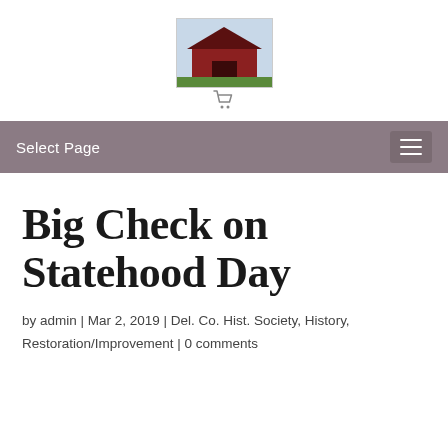[Figure (logo): Delaware County Historical Society logo with red barn and text 'Delaware County Historical Society, Our History, Our Heritage']
Select Page
Big Check on Statehood Day
by admin | Mar 2, 2019 | Del. Co. Hist. Society, History, Restoration/Improvement | 0 comments